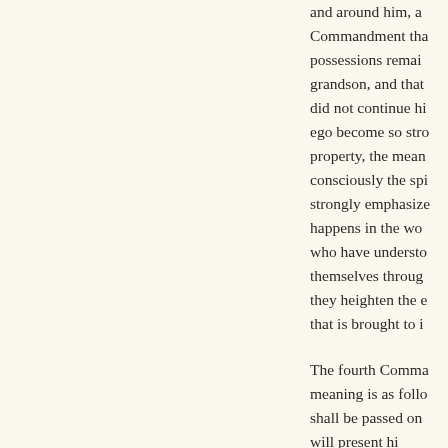and around him, a Commandment that possessions remain grandson, and that did not continue hi ego become so stro property, the mean consciously the spi strongly emphasize happens in the wo who have understo themselves throug they heighten the e that is brought to i

The fourth Comma meaning is as follo shall be passed on will present hi